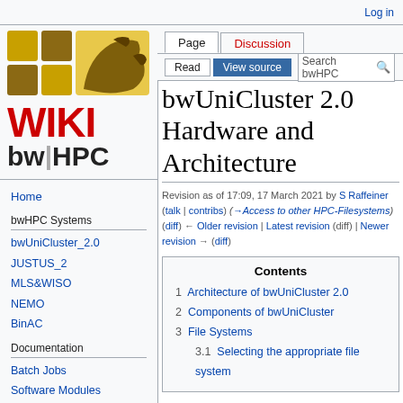Log in
[Figure (logo): bwHPC wiki logo with golden/brown grid pattern and lion heraldic symbol, red WIKI text, and bw|HPC text]
Home
bwHPC Systems
bwUniCluster_2.0
JUSTUS_2
MLS&WISO
NEMO
BinAC
Documentation
Batch Jobs
Software Modules
Software Search
bwUniCluster 2.0 Hardware and Architecture
Revision as of 17:09, 17 March 2021 by S Raffeiner (talk | contribs) (→Access to other HPC-Filesystems)
(diff) ← Older revision | Latest revision (diff) | Newer revision → (diff)
Contents
1  Architecture of bwUniCluster 2.0
2  Components of bwUniCluster
3  File Systems
3.1  Selecting the appropriate file system